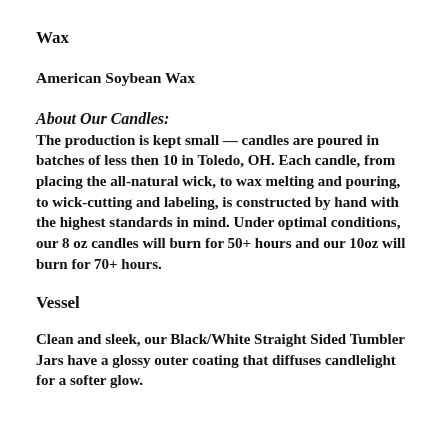Wax
American Soybean Wax
About Our Candles:
The production is kept small — candles are poured in batches of less then 10 in Toledo, OH. Each candle, from placing the all-natural wick, to wax melting and pouring, to wick-cutting and labeling, is constructed by hand with the highest standards in mind. Under optimal conditions, our 8 oz candles will burn for 50+ hours and our 10oz will burn for 70+ hours.
Vessel
Clean and sleek, our Black/White Straight Sided Tumbler Jars have a glossy outer coating that diffuses candlelight for a softer glow.